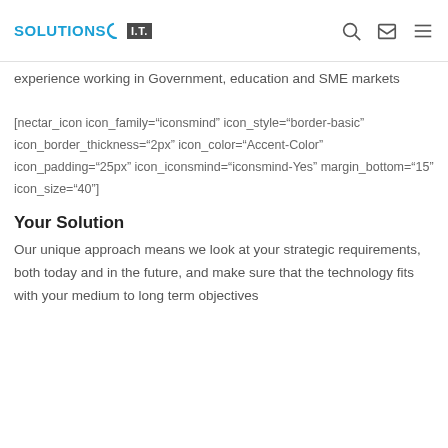SOLUTIONS I.T.
experience working in Government, education and SME markets
[nectar_icon icon_family="iconsmind" icon_style="border-basic" icon_border_thickness="2px" icon_color="Accent-Color" icon_padding="25px" icon_iconsmind="iconsmind-Yes" margin_bottom="15" icon_size="40"]
Your Solution
Our unique approach means we look at your strategic requirements, both today and in the future, and make sure that the technology fits with your medium to long term objectives